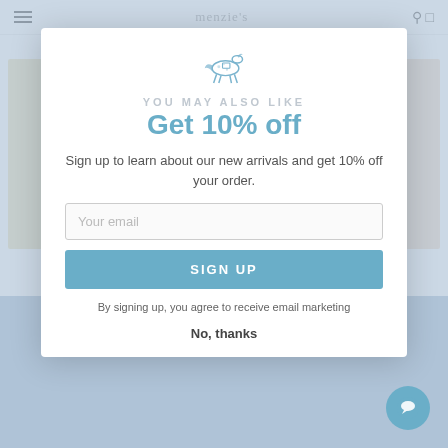[Figure (screenshot): Website screenshot showing a children's bookstore (Menzie's) with a popup modal overlay offering 10% off for email signup. Background shows book product listings. Modal contains logo, headline 'Get 10% off', email input, sign up button, and legal text.]
YOU MAY ALSO LIKE
Get 10% off
Sign up to learn about our new arrivals and get 10% off your order.
Your email
SIGN UP
By signing up, you agree to receive email marketing
Thoughtfulls(kids)-You're Amazing
Jazz For Lunch
SIMON AND SCHUSTER
Room for...
SIMON AND...
COMPENDIUM
$9.00
$20
No, thanks